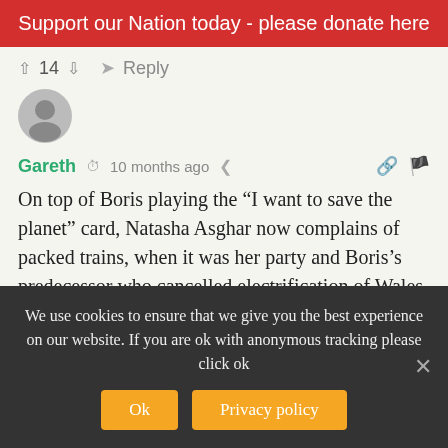Support our Nation today - please donate here
↑ 14 ↓  ➤ Reply
[Figure (illustration): Generic user avatar circle with person silhouette in gray]
Gareth  🕐 10 months ago  🔗 🚩
On top of Boris playing the "I want to save the planet" card, Natasha Asghar now complains of packed trains, when it was her party and Boris's predecessor who cancelled electrification of Wales railways, and under funded our system for year after year. This is total hypocrisy from the two of them this last few days. If they were that concerned, they would have funded
We use cookies to ensure that we give you the best experience on our website. If you are ok with anonymous tracking please click ok
Ok   Privacy policy